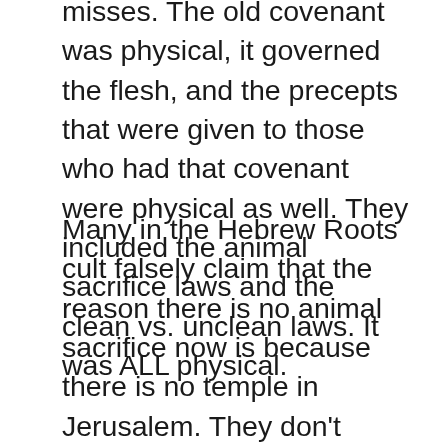misses. The old covenant was physical, it governed the flesh, and the precepts that were given to those who had that covenant were physical as well. They included the animal sacrifice laws and the clean vs. unclean laws. It was ALL physical.
Many in the Hebrew Roots cult falsely claim that the reason there is no animal sacrifice now is because there is no temple in Jerusalem. They don't understand that the temple in Jerusalem was a physical foreshadow of Messiah's bride. We're told in Hebrews 10 that the Holy Spirit declared the end of animal sacrifice, and that was at least a few years before the temple was actually destroyed in 70 AD.